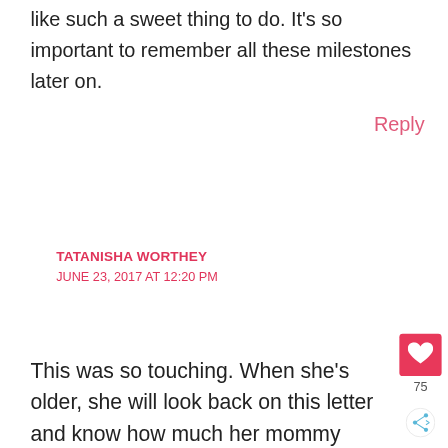like such a sweet thing to do. It’s so important to remember all these milestones later on.
Reply
TATANISHA WORTHEY
JUNE 23, 2017 AT 12:20 PM
This was so touching. When she’s older, she will look back on this letter and know how much her mommy loved her. Children, each